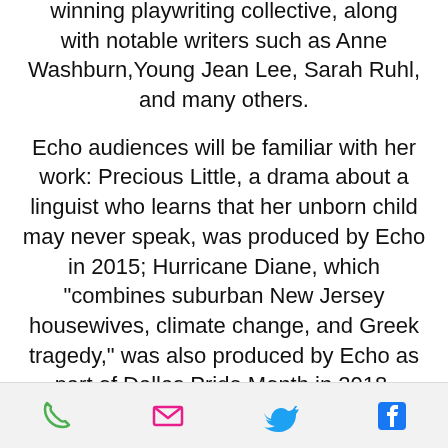winning playwriting collective, along with notable writers such as Anne Washburn, Young Jean Lee, Sarah Ruhl, and many others.
Echo audiences will be familiar with her work: Precious Little, a drama about a linguist who learns that her unborn child may never speak, was produced by Echo in 2015; Hurricane Diane, which "combines suburban New Jersey housewives, climate change, and Greek tragedy," was also produced by Echo as part of Dallas Pride Month in 2018.
[Figure (photo): Circular cropped headshot photo of a person with dark curly short hair and glasses, shown from shoulders up against a gray circular background.]
Phone | Email | Twitter | Facebook